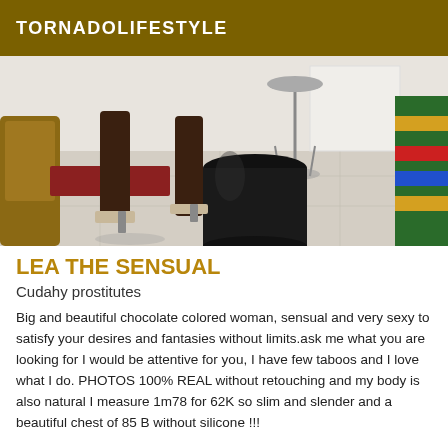TORNADOLIFESTYLE
[Figure (photo): Photo showing legs of a dark-skinned woman wearing high-heeled sandals standing on a light wood floor, with a black cylindrical ottoman/trash can in the center, a bar stool in the background, and colorful fabric on the right side.]
LEA THE SENSUAL
Cudahy prostitutes
Big and beautiful chocolate colored woman, sensual and very sexy to satisfy your desires and fantasies without limits.ask me what you are looking for I would be attentive for you, I have few taboos and I love what I do. PHOTOS 100% REAL without retouching and my body is also natural I measure 1m78 for 62K so slim and slender and a beautiful chest of 85 B without silicone !!!